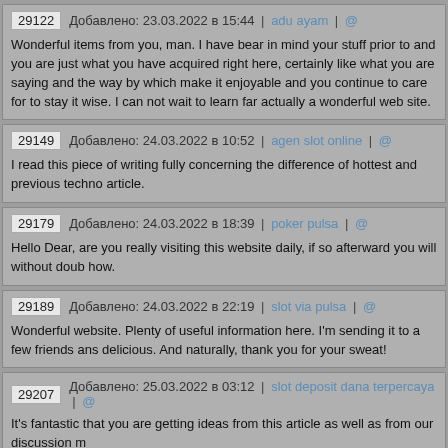29122  Добавлено: 23.03.2022 в 15:44 | adu ayam | @
Wonderful items from you, man. I have bear in mind your stuff prior to and you are just what you have acquired right here, certainly like what you are saying and the way by which make it enjoyable and you continue to care for to stay it wise. I can not wait to learn far actually a wonderful web site.
29149  Добавлено: 24.03.2022 в 10:52 | agen slot online | @
I read this piece of writing fully concerning the difference of hottest and previous techno article.
29179  Добавлено: 24.03.2022 в 18:39 | poker pulsa | @
Hello Dear, are you really visiting this website daily, if so afterward you will without doub how.
29189  Добавлено: 24.03.2022 в 22:19 | slot via pulsa | @
Wonderful website. Plenty of useful information here. I'm sending it to a few friends ans delicious. And naturally, thank you for your sweat!
29207  Добавлено: 25.03.2022 в 03:12 | slot deposit dana terpercaya | @
It's fantastic that you are getting ideas from this article as well as from our discussion m
29248  Добавлено: 25.03.2022 в 17:11 | seputaranime.com | @